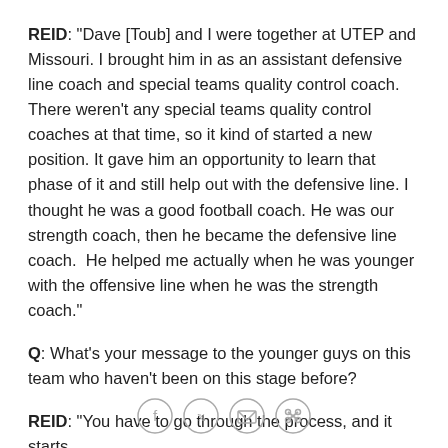REID: "Dave [Toub] and I were together at UTEP and Missouri. I brought him in as an assistant defensive line coach and special teams quality control coach. There weren't any special teams quality control coaches at that time, so it kind of started a new position. It gave him an opportunity to learn that phase of it and still help out with the defensive line. I thought he was a good football coach. He was our strength coach, then he became the defensive line coach.  He helped me actually when he was younger with the offensive line when he was the strength coach."
Q: What's your message to the younger guys on this team who haven't been on this stage before?
REID: "You have to go through the process, and it starts
[Figure (other): Four social sharing icon buttons: Facebook, Twitter, email, and link/share, displayed as circular outlined icons in a row at the bottom of the page.]